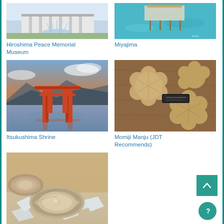[Figure (photo): Hiroshima Peace Memorial Museum exterior with fountains]
Hiroshima Peace Memorial Museum
[Figure (photo): Miyajima aerial view with turquoise water]
Miyajima
[Figure (photo): Itsukushima Shrine torii gate in water at sunset]
Itsukushima Shrine
[Figure (photo): Momiji Manju Japanese sweets in flower shape on wooden tray]
Momiji Manju (JDT Recommends)
[Figure (photo): Fresh oysters on ice]
Oysters (JDT Recommends)